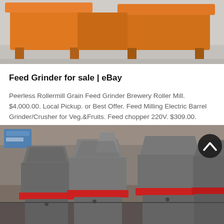[Figure (photo): Top portion of orange industrial feed grinder machinery on a concrete floor, cropped view]
Feed Grinder for sale | eBay
Peerless Rollermill Grain Feed Grinder Brewery Roller Mill. $4,000.00. Local Pickup. or Best Offer. Feed Milling Electric Barrel Grinder/Crusher for Veg.&amp;Fruits. Feed chopper 220V. $309.00. $39.00 shipping
GET PRICE
[Figure (photo): Multiple large industrial grain/feed grinder machines with metal hopper tops and red accent bands, inside a warehouse/factory, with a scroll-to-top button overlay]